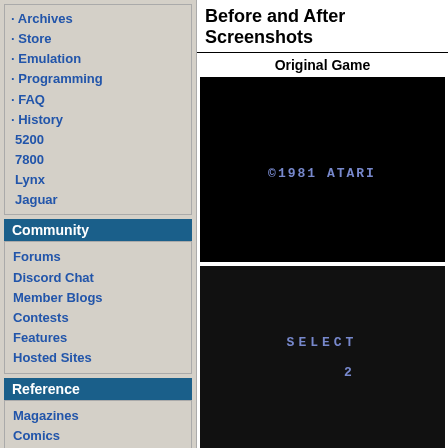· Archives
· Store
· Emulation
· Programming
· FAQ
· History
5200
7800
Lynx
Jaguar
Community
Forums
Discord Chat
Member Blogs
Contests
Features
Hosted Sites
Reference
Magazines
Comics
How To
Glossary
Trivia
AtariAge Store
Store Home
2600
5200
Before and After Screenshots
Original Game
[Figure (screenshot): Black screen showing '©1981 ATARI' text in blue pixel font]
[Figure (screenshot): Dark screen showing 'SELECT' and '2' text in blue pixel font]